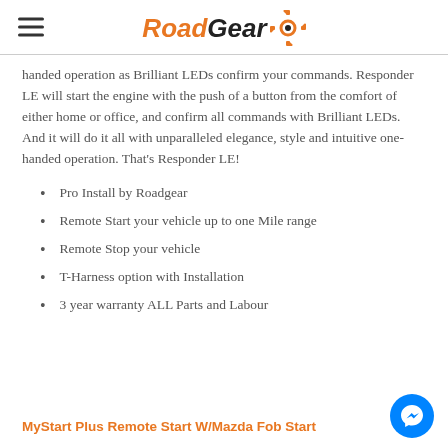RoadGear
handed operation as Brilliant LEDs confirm your commands. Responder LE will start the engine with the push of a button from the comfort of either home or office, and confirm all commands with Brilliant LEDs. And it will do it all with unparalleled elegance, style and intuitive one-handed operation. That's Responder LE!
Pro Install by Roadgear
Remote Start your vehicle up to one Mile range
Remote Stop your vehicle
T-Harness option with Installation
3 year warranty ALL Parts and Labour
MyStart Plus Remote Start W/Mazda Fob Start